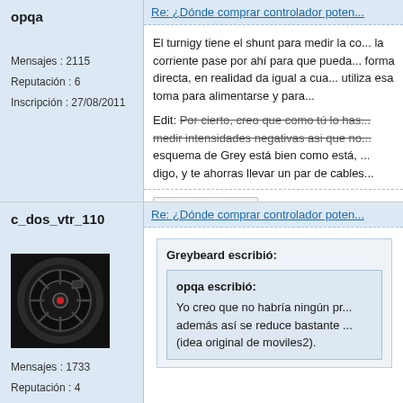opqa
Mensajes : 2115
Reputación : 6
Inscripción : 27/08/2011
Re: ¿Dónde comprar controlador poten...
El turnigy tiene el shunt para medir la co... la corriente pase por ahí para que pueda... forma directa, en realidad da igual a cua... utiliza esa toma para alimentarse y para...

Edit: Por cierto, creo que como tú lo has... medir intensidades negativas asi que no... esquema de Grey está bien como está, ... digo, y te ahorras llevar un par de cables...
ME GUSTA
c_dos_vtr_110
[Figure (photo): Motorcycle wheel with disc brake, black color]
Mensajes : 1733
Reputación : 4
Inscripción : 08/07/2011
Re: ¿Dónde comprar controlador poten...
Greybeard escribió:
opqa escribió:
Yo creo que no habría ningún pr... además así se reduce bastante ... (idea original de moviles2).